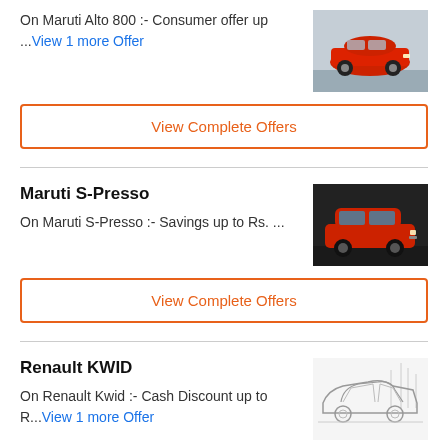On Maruti Alto 800 :- Consumer offer up ...View 1 more Offer
[Figure (photo): Red Maruti Alto 800 car photo]
View Complete Offers
Maruti S-Presso
On Maruti S-Presso :- Savings up to Rs. ...
[Figure (photo): Red Maruti S-Presso car photo on dark background]
View Complete Offers
Renault KWID
On Renault Kwid :- Cash Discount up to R...View 1 more Offer
[Figure (illustration): Outline illustration of a sedan car]